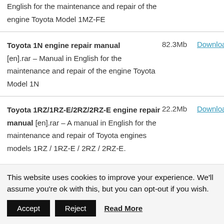English for the maintenance and repair of the engine Toyota Model 1MZ-FE
| Manual | Size | Link |
| --- | --- | --- |
| Toyota 1N engine repair manual [en].rar – Manual in English for the maintenance and repair of the engine Toyota Model 1N | 82.3Mb | Download |
| Toyota 1RZ/1RZ-E/2RZ/2RZ-E engine repair manual [en].rar – A manual in English for the maintenance and repair of Toyota engines models 1RZ / 1RZ-E / 2RZ / 2RZ-E. | 22.2Mb | Download |
This website uses cookies to improve your experience. We'll assume you're ok with this, but you can opt-out if you wish.